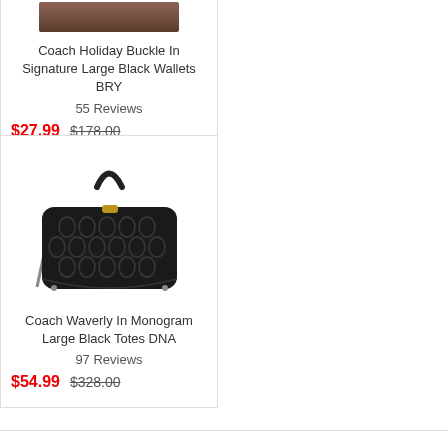[Figure (photo): Partial view of Coach Holiday Buckle Signature Large Black Wallets BRY product image at top]
Coach Holiday Buckle In Signature Large Black Wallets BRY
55 Reviews
$27.99  $178.00
[Figure (photo): Coach Waverly In Monogram Large Black Totes DNA - black handbag with monogram C pattern and single top handle with shoulder strap]
Coach Waverly In Monogram Large Black Totes DNA
97 Reviews
$54.99  $328.00